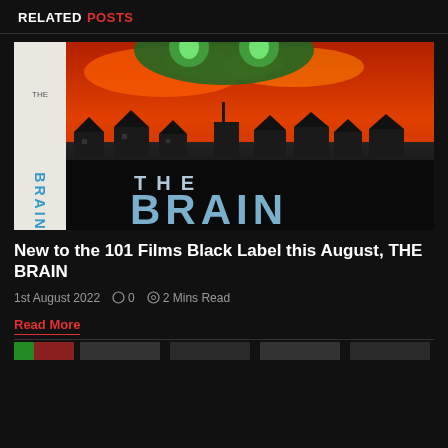RELATED POSTS
[Figure (photo): Movie poster for 'The Brain' — a horror film poster showing a green alien skull looming over a suburban town with fire in the sky; the word BRAIN is written vertically on the left side in blue letters, and 'THE BRAIN' in large letters at the bottom]
New to the 101 Films Black Label this August, THE BRAIN
1st August 2022  ◯ 0  ⊙ 2 Mins Read
Read More